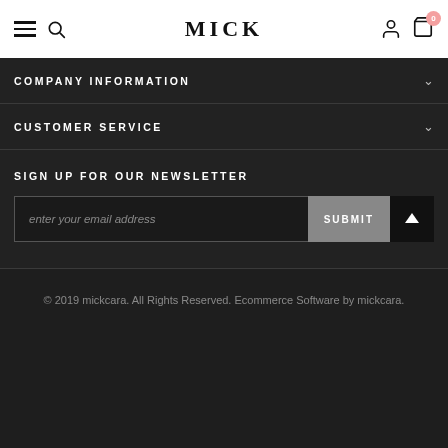MICK
COMPANY INFORMATION
CUSTOMER SERVICE
SIGN UP FOR OUR NEWSLETTER
enter your email address
SUBMIT
© 2019 mickcara. All Rights Reserved. Ecommerce Software by mickcara.